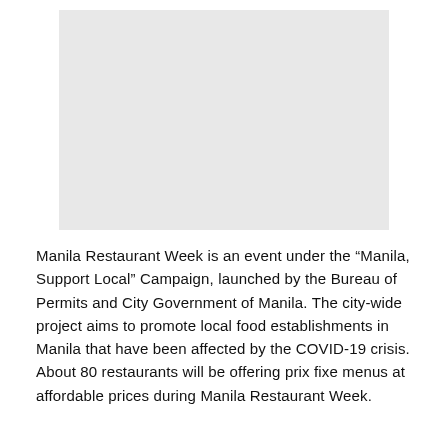[Figure (photo): A light gray rectangular placeholder image occupying the upper portion of the page.]
Manila Restaurant Week is an event under the “Manila, Support Local” Campaign, launched by the Bureau of Permits and City Government of Manila. The city-wide project aims to promote local food establishments in Manila that have been affected by the COVID-19 crisis. About 80 restaurants will be offering prix fixe menus at affordable prices during Manila Restaurant Week.